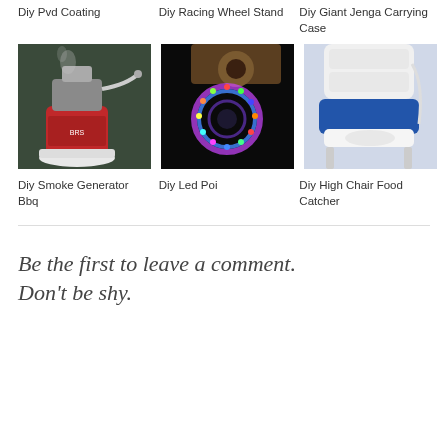Diy Pvd Coating
Diy Racing Wheel Stand
Diy Giant Jenga Carrying Case
[Figure (photo): BBQ smoke generator device with red canister and tubing]
[Figure (photo): LED poi spinning light circle on dark background with wooden gear]
[Figure (photo): White high chair with blue seat base]
Diy Smoke Generator Bbq
Diy Led Poi
Diy High Chair Food Catcher
Be the first to leave a comment. Don't be shy.